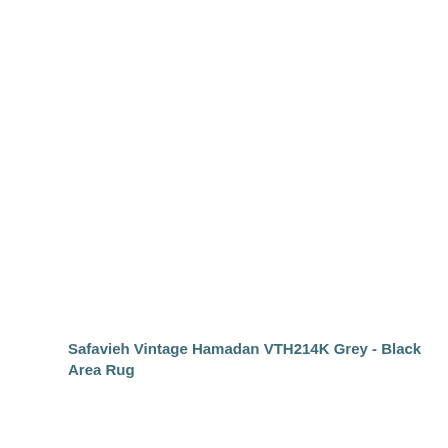Safavieh Vintage Hamadan VTH214K Grey - Black Area Rug